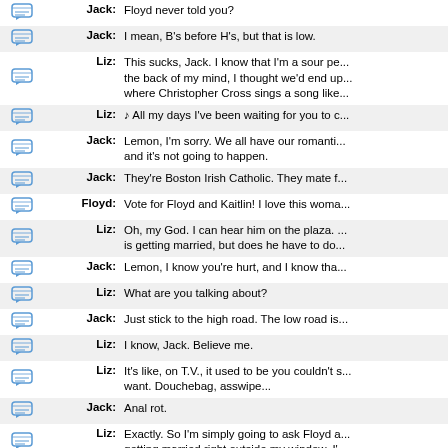| icon | speaker | text |
| --- | --- | --- |
| [icon] | Jack: | Floyd never told you? |
| [icon] | Jack: | I mean, B's before H's, but that is low. |
| [icon] | Liz: | This sucks, Jack. I know that I'm a sour pe... the back of my mind, I thought we'd end u... where Christopher Cross sings a song like... |
| [icon] | Liz: | ♪ All my days I've been waiting for you to c... |
| [icon] | Jack: | Lemon, I'm sorry. We all have our romanti... and it's not going to happen. |
| [icon] | Jack: | They're Boston Irish Catholic. They mate f... |
| [icon] | Floyd: | Vote for Floyd and Kaitlin! I love this woma... |
| [icon] | Liz: | Oh, my God. I can hear him on the plaza. ... is getting married, but does he have to do... |
| [icon] | Jack: | Lemon, I know you're hurt, and I know tha... |
| [icon] | Liz: | What are you talking about? |
| [icon] | Jack: | Just stick to the high road. The low road is... |
| [icon] | Liz: | I know, Jack. Believe me. |
| [icon] | Liz: | It's like, on T.V., it used to be you couldn't s... want. Douchebag, asswipe... |
| [icon] | Jack: | Anal rot. |
| [icon] | Liz: | Exactly. So I'm simply going to ask Floyd a... getting married right outside my window. I'... |
| [icon] | Jack: | McShanley's? The place where you got fo... |
| [icon] | Liz: | So? |
| [icon] | Jack: | So are you sure you're not planning to get... |
| [icon] | Liz: | What? No. Jack, that never even occurred... |
| [icon] | Jack: | Then you will never be a Silver Panther. |
| [icon] | Liz: | I don't care! I'll start my own group! Reject... |